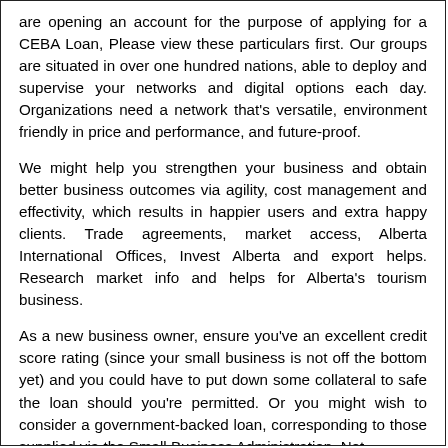are opening an account for the purpose of applying for a CEBA Loan, Please view these particulars first. Our groups are situated in over one hundred nations, able to deploy and supervise your networks and digital options each day. Organizations need a network that's versatile, environment friendly in price and performance, and future-proof.
We might help you strengthen your business and obtain better business outcomes via agility, cost management and effectivity, which results in happier users and extra happy clients. Trade agreements, market access, Alberta International Offices, Invest Alberta and export helps. Research market info and helps for Alberta's tourism business.
As a new business owner, ensure you've an excellent credit score rating (since your small business is not off the bottom yet) and you could have to put down some collateral to safe the loan should you're permitted. Or you might wish to consider a government-backed loan, corresponding to those supplied via the Small Business Administration. Not